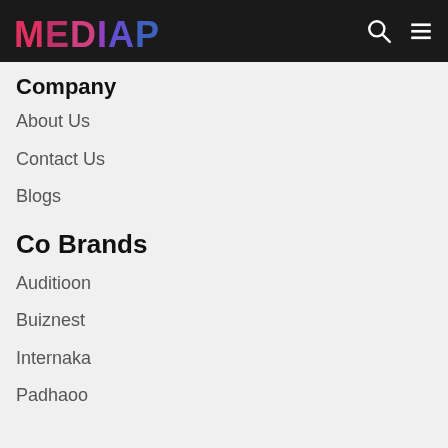MEDIAPUR navigation bar with logo, search icon, hamburger menu
Company
About Us
Contact Us
Blogs
Co Brands
Auditioon
Buiznest
Internaka
Padhaoo